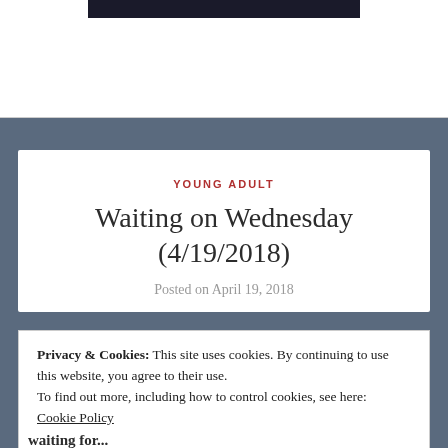[Figure (photo): Dark photograph strip visible at top of page]
YOUNG ADULT
Waiting on Wednesday (4/19/2018)
Posted on April 19, 2018
Privacy & Cookies: This site uses cookies. By continuing to use this website, you agree to their use.
To find out more, including how to control cookies, see here:
Cookie Policy
Close and accept
waiting for...